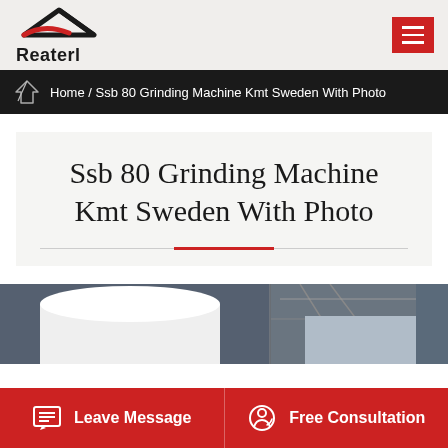[Figure (logo): Reaterl logo with house/roof icon in black and red, company name Reaterl in bold]
Home / Ssb 80 Grinding Machine Kmt Sweden With Photo
Ssb 80 Grinding Machine Kmt Sweden With Photo
[Figure (photo): Industrial grinding machine photograph, showing large white cylindrical equipment in a factory setting with metal framework]
Leave Message
Free Consultation